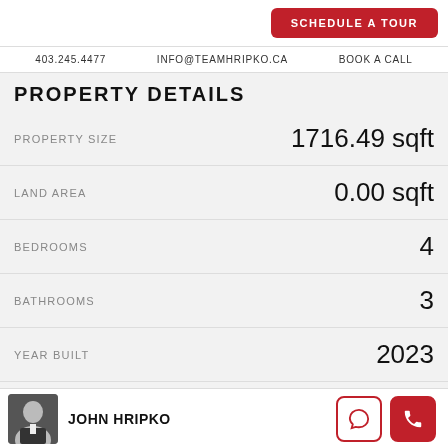SCHEDULE A TOUR
403.245.4477   INFO@TEAMHRIPKO.CA   BOOK A CALL
PROPERTY DETAILS
| Field | Value |
| --- | --- |
| PROPERTY SIZE | 1716.49 sqft |
| LAND AREA | 0.00 sqft |
| BEDROOMS | 4 |
| BATHROOMS | 3 |
| YEAR BUILT | 2023 |
| PROPERTY STATUS | Active |
JOHN HRIPKO